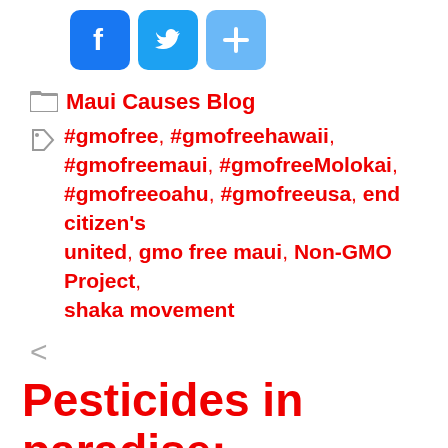[Figure (other): Social sharing buttons: Facebook (blue), Twitter (blue), Share/Plus (light blue)]
Maui Causes Blog
#gmofree, #gmofreehawaii, #gmofreemaui, #gmofreeMolokai, #gmofreeoahu, #gmofreeusa, end citizen's united, gmo free maui, Non-GMO Project, shaka movement
<
Pesticides in paradise: Hawaii's spike in birth defects puts focus on GM